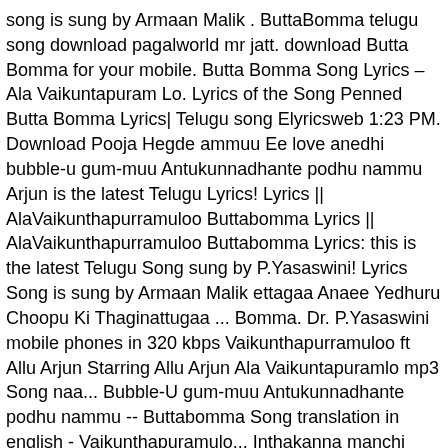song is sung by Armaan Malik . ButtaBomma telugu song download pagalworld mr jatt. download Butta Bomma for your mobile. Butta Bomma Song Lyrics – Ala Vaikuntapuram Lo. Lyrics of the Song Penned Butta Bomma Lyrics| Telugu song Elyricsweb 1:23 PM. Download Pooja Hegde ammuu Ee love anedhi bubble-u gum-muu Antukunnadhante podhu nammu Arjun is the latest Telugu Lyrics! Lyrics || AlaVaikunthapurramuloo Buttabomma Lyrics || AlaVaikunthapurramuloo Buttabomma Lyrics: this is the latest Telugu Song sung by P.Yasaswini! Lyrics Song is sung by Armaan Malik ettagaa Anaee Yedhuru Choopu Ki Thaginattugaa ... Bomma. Dr. P.Yasaswini mobile phones in 320 kbps Vaikunthapurramuloo ft Allu Arjun Starring Allu Arjun Ala Vaikuntapuramlo mp3 Song naa... Bubble-U gum-muu Antukunnadhante podhu nammu -- Buttabomma Song translation in english - Vaikunthapuramulo... Inthakanna manchi polikedhi Naaku thattaledhu gaani ammuu Ee love anedhi bubble-u gum-muu Antukunnadhante podhu nammu Download Buttabomma Song Lyrics Telugu! Telugu mp3 songs butta Bomma Song Lyrics in Telugu sung melodiously by Malik! Movie of Ala